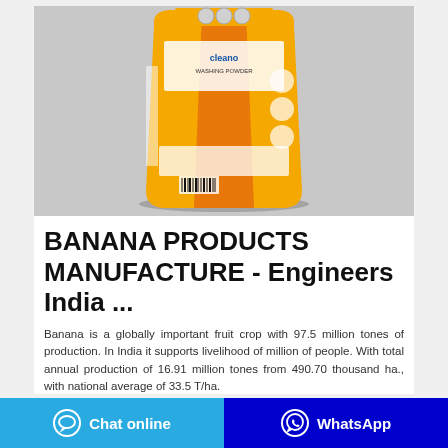[Figure (photo): Orange/yellow product bag (laundry detergent or similar packaged product) standing upright against a light gray background]
BANANA PRODUCTS MANUFACTURE - Engineers India ...
Banana is a globally important fruit crop with 97.5 million tones of production. In India it supports livelihood of million of people. With total annual production of 16.91 million tones from 490.70 thousand ha., with national average of 33.5 T/ha.
Chat online   WhatsApp